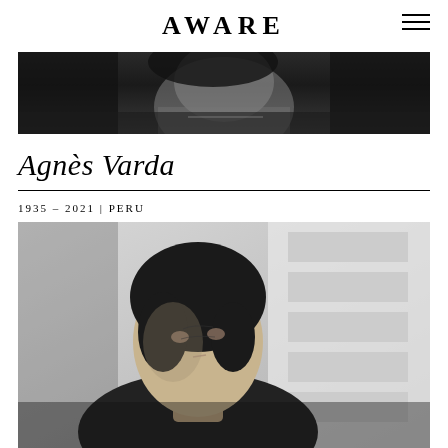AWARE
[Figure (photo): Black and white close-up photograph of an elderly woman's face and neck, wearing a dark top and necklace]
Agnès Varda
1935 – 2021 | PERU
[Figure (photo): Black and white portrait photograph of a young woman with short dark hair looking upward, with a building in the background]